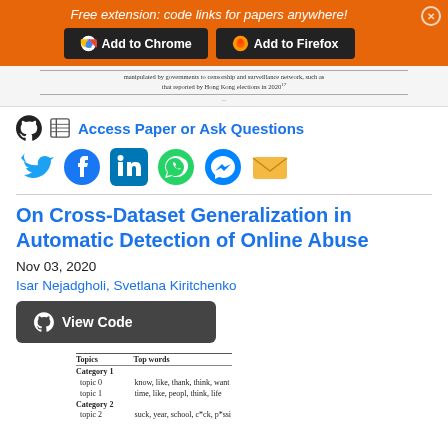Free extension: code links for papers anywhere!
Add to Chrome | Add to Firefox
[Figure (screenshot): Small snippet of a research paper text about censorship and surveillance network, Hong Kong 2020]
Access Paper or Ask Questions
[Figure (infographic): Social media sharing icons: Twitter, Facebook, LinkedIn, WhatsApp, Messenger, Email]
On Cross-Dataset Generalization in Automatic Detection of Online Abuse
Nov 03, 2020
Isar Nejadgholi, Svetlana Kiritchenko
View Code
| Topics | Top words |
| --- | --- |
| Category 1 |  |
| topic 0 | know, like, thank, think, want |
| topic 1 | time, like, peopl, think, life |
| Category 2 |  |
| topic 2 | suck, year, school, c*ck, p*ssi |